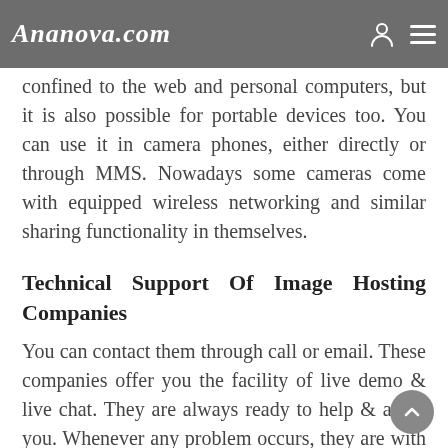Ananova.com
confined to the web and personal computers, but it is also possible for portable devices too. You can use it in camera phones, either directly or through MMS. Nowadays some cameras come with equipped wireless networking and similar sharing functionality in themselves.
Technical Support Of Image Hosting Companies
You can contact them through call or email. These companies offer you the facility of live demo & live chat. They are always ready to help & assist you. Whenever any problem occurs, they are with you to assist